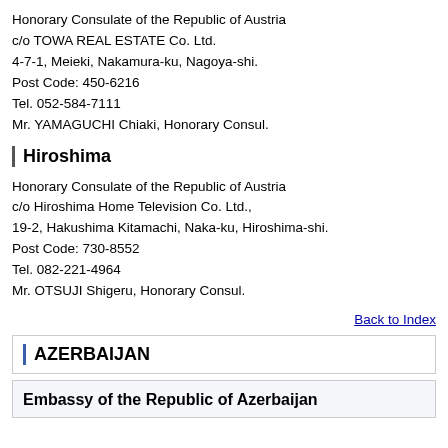Honorary Consulate of the Republic of Austria
c/o TOWA REAL ESTATE Co. Ltd.
4-7-1, Meieki, Nakamura-ku, Nagoya-shi.
Post Code: 450-6216
Tel. 052-584-7111
Mr. YAMAGUCHI Chiaki, Honorary Consul.
Hiroshima
Honorary Consulate of the Republic of Austria
c/o Hiroshima Home Television Co. Ltd.,
19-2, Hakushima Kitamachi, Naka-ku, Hiroshima-shi.
Post Code: 730-8552
Tel. 082-221-4964
Mr. OTSUJI Shigeru, Honorary Consul.
Back to Index
AZERBAIJAN
Embassy of the Republic of Azerbaijan